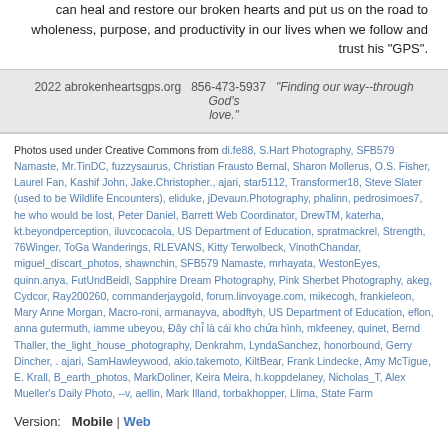can heal and restore our broken hearts and put us on the road to wholeness, purpose, and productivity in our lives when we follow and trust his "GPS".
2022 abrokenheartsgps.org   856-473-5937   "Finding our way--through God's love."
Photos used under Creative Commons from di.fe88, S.Hart Photography, SFB579 Namaste, Mr.TinDC, fuzzysaurus, Christian Frausto Bernal, Sharon Mollerus, O.S. Fisher, Laurel Fan, Kashif John, Jake.Christopher., ajari, star5112, Transformer18, Steve Slater (used to be Wildlife Encounters), eliduke, jDevaun.Photography, phalinn, pedrosimoes7, he who would be lost, Peter Daniel, Barrett Web Coordinator, DrewTM, katerha, kt.beyondperception, iluvcocacola, US Department of Education, spratmackrel, Strength, 76Winger, ToGa Wanderings, RLEVANS, Kitty Terwolbeck, VinothChandar, miguel_discart_photos, shawnchin, SFB579 Namaste, mrhayata, WestonEyes, quinn.anya, FutUndBeidl, Sapphire Dream Photography, Pink Sherbet Photography, akeg, Cydcor, Ray200260, commanderjaygold, forum.linvoyage.com, mikecogh, frankieleon, Mary Anne Morgan, Macro-roni, armanayva, abodftyh, US Department of Education, eflon, anna gutermuth, iamme ubeyou, Đây chỉ là cái kho chứa hình, mkfeeney, quinet, Bernd Thaller, the_light_house_photography, Denkrahm, LyndaSanchez, honorbound, Gerry Dincher, . ajari, SamHawleywood, akio.takemoto, KiltBear, Frank Lindecke, Amy McTigue, E. Krall, B_earth_photos, MarkDoliner, Keira Meira, h.koppdelaney, Nicholas_T, Alex Mueller's Daily Photo, --v, aellin, Mark Illand, torbakhopper, Llima, State Farm
Version:  Mobile | Web